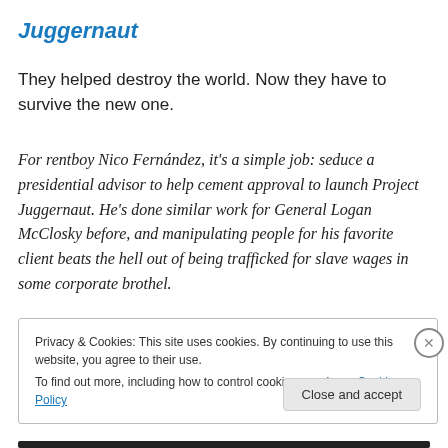Juggernaut
They helped destroy the world. Now they have to survive the new one.
For rentboy Nico Fernández, it's a simple job: seduce a presidential advisor to help cement approval to launch Project Juggernaut. He's done similar work for General Logan McClosky before, and manipulating people for his favorite client beats the hell out of being trafficked for slave wages in some corporate brothel.
Privacy & Cookies: This site uses cookies. By continuing to use this website, you agree to their use.
To find out more, including how to control cookies, see here: Cookie Policy
Close and accept